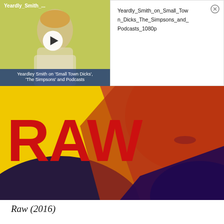[Figure (screenshot): Video thumbnail showing Yeardly Smith interview with play button overlay and blue caption bar reading 'Yeardley Smith on Small Town Dicks The Simpsons and Podcasts'. Label at top-left reads 'Yeardly_Smith_...']
Yeardly_Smith_on_Small_Town_Dicks_The_Simpsons_and_Podcasts_1080p
[Figure (photo): Movie poster for Raw (2016) — close-up of a woman's face and neck/shoulder against a bright yellow background with large red text 'RAW']
Raw (2016)